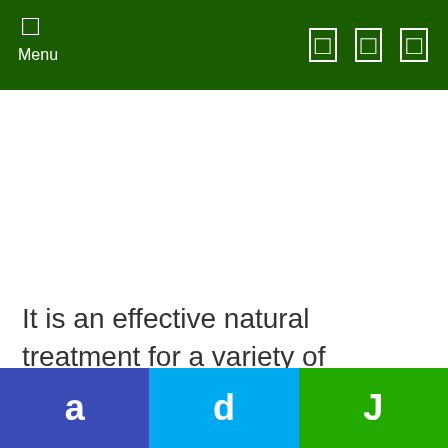Menu
It is an effective natural treatment for a variety of illnesses including skin rashes, as it relieves itching and calms the skin. Raw, unfiltered, and organic apple cider vinegar are the best types to use.
a  d  J